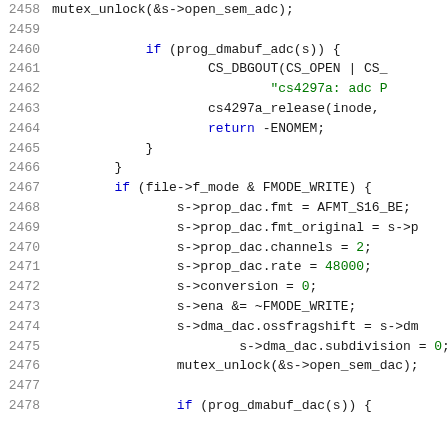[Figure (screenshot): Source code listing showing C code lines 2458-2478, with line numbers on the left and syntax-highlighted code on the right. Blue keywords, green strings/numbers, black default text on white background.]